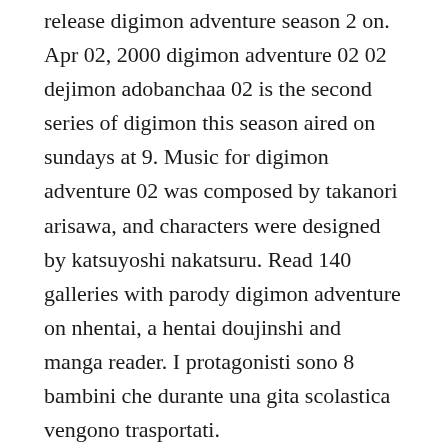release digimon adventure season 2 on. Apr 02, 2000 digimon adventure 02 02 dejimon adobanchaa 02 is the second series of digimon this season aired on sundays at 9. Music for digimon adventure 02 was composed by takanori arisawa, and characters were designed by katsuyoshi nakatsuru. Read 140 galleries with parody digimon adventure on nhentai, a hentai doujinshi and manga reader. I protagonisti sono 8 bambini che durante una gita scolastica vengono trasportati.
Digimon adventure episodi streaming ita